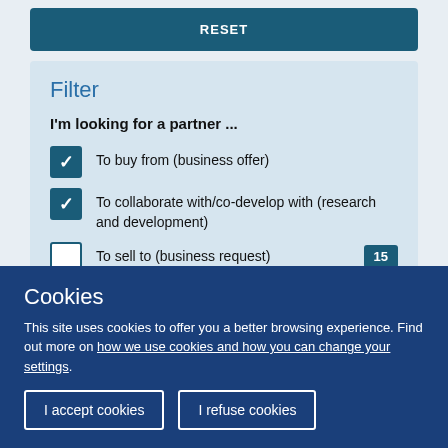RESET
Filter
I'm looking for a partner ...
To buy from (business offer)
To collaborate with/co-develop with (research and development)
To sell to (business request) 15
With tech/expertise that I 10
Cookies
This site uses cookies to offer you a better browsing experience. Find out more on how we use cookies and how you can change your settings.
I accept cookies
I refuse cookies